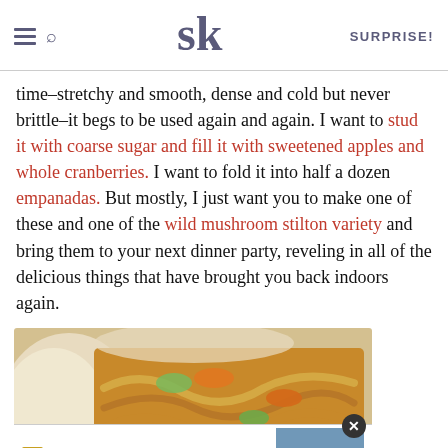SK SURPRISE!
time–stretchy and smooth, dense and cold but never brittle–it begs to be used again and again. I want to stud it with coarse sugar and fill it with sweetened apples and whole cranberries. I want to fold it into half a dozen empanadas. But mostly, I just want you to make one of these and one of the wild mushroom stilton variety and bring them to your next dinner party, reveling in all of the delicious things that have brought you back indoors again.
[Figure (photo): Close-up photo of an empanada filled with sautéed vegetables including carrots and green peppers in a golden pastry shell]
[Figure (infographic): Advertisement banner: 'Discover the unsearchable' for DiscoverTheForest.org with forest imagery and hikers]